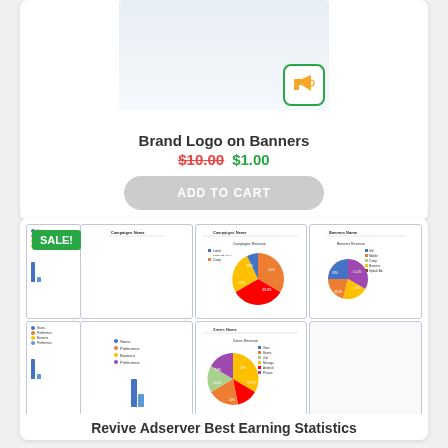[Figure (screenshot): Product image area with gradient background and green megaphone/ad icon in bottom-right corner]
Brand Logo on Banners
$10.00 $1.00
ADD TO CART
SALE!
[Figure (screenshot): Dashboard screenshot showing pie charts for Campaigns Revenue, Banners Revenue, and Zones Revenue with colored segments and legends]
Revive Adserver Best Earning Statistics